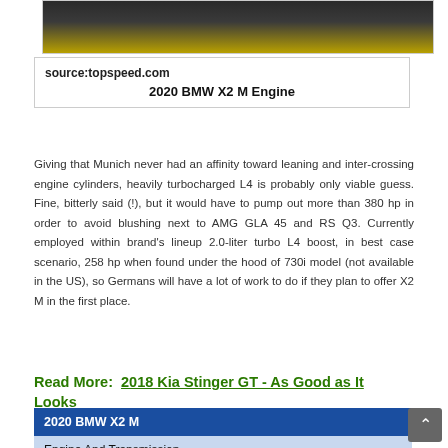[Figure (photo): Bottom portion of a BMW car (dark body with gold/yellow lower section visible), cropped view]
source:topspeed.com
2020 BMW X2 M Engine
Giving that Munich never had an affinity toward leaning and inter-crossing engine cylinders, heavily turbocharged L4 is probably only viable guess. Fine, bitterly said (!), but it would have to pump out more than 380 hp in order to avoid blushing next to AMG GLA 45 and RS Q3. Currently employed within brand's lineup 2.0-liter turbo L4 boost, in best case scenario, 258 hp when found under the hood of 730i model (not available in the US), so Germans will have a lot of work to do if they plan to offer X2 M in the first place.
Read More:  2018 Kia Stinger GT - As Good as It Looks
| 2020 BMW X2 M |
| --- |
| Engine And Transmission |